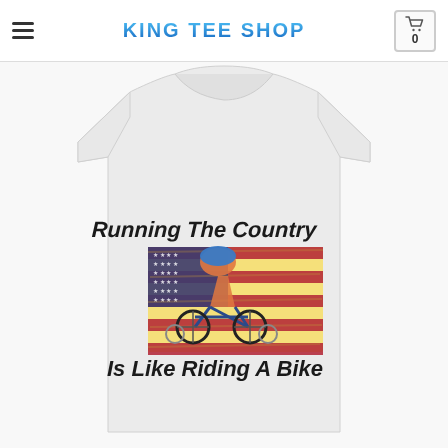KING TEE SHOP
[Figure (photo): White t-shirt with graphic design showing an American flag and a person riding a bike, with text 'Running The Country Is Like Riding A Bike']